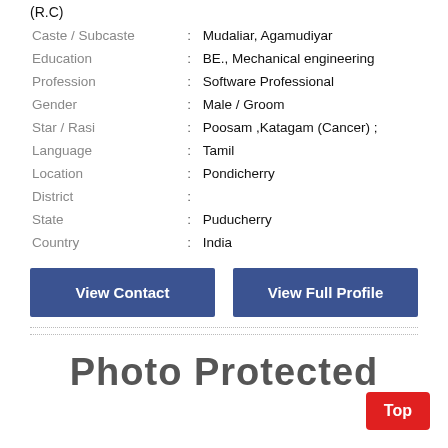(R.C)
| Caste / Subcaste | : | Mudaliar, Agamudiyar |
| Education | : | BE., Mechanical engineering |
| Profession | : | Software Professional |
| Gender | : | Male / Groom |
| Star / Rasi | : | Poosam ,Katagam (Cancer) ; |
| Language | : | Tamil |
| Location | : | Pondicherry |
| District | : |  |
| State | : | Puducherry |
| Country | : | India |
View Contact
View Full Profile
[Figure (other): Photo Protected text shown in large bold letters, partially visible]
Top